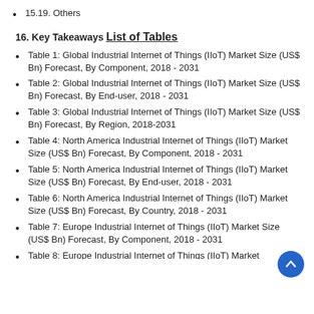15.19. Others
16. Key Takeaways
List of Tables
Table 1: Global Industrial Internet of Things (IIoT) Market Size (US$ Bn) Forecast, By Component, 2018 - 2031
Table 2: Global Industrial Internet of Things (IIoT) Market Size (US$ Bn) Forecast, By End-user, 2018 - 2031
Table 3: Global Industrial Internet of Things (IIoT) Market Size (US$ Bn) Forecast, By Region, 2018-2031
Table 4: North America Industrial Internet of Things (IIoT) Market Size (US$ Bn) Forecast, By Component, 2018 - 2031
Table 5: North America Industrial Internet of Things (IIoT) Market Size (US$ Bn) Forecast, By End-user, 2018 - 2031
Table 6: North America Industrial Internet of Things (IIoT) Market Size (US$ Bn) Forecast, By Country, 2018 - 2031
Table 7: Europe Industrial Internet of Things (IIoT) Market Size (US$ Bn) Forecast, By Component, 2018 - 2031
Table 8: Europe Industrial Internet of Things (IIoT) Market